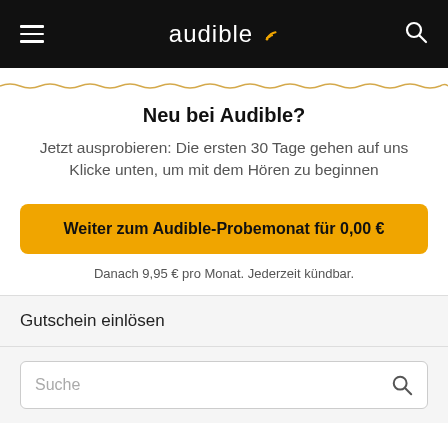audible
Neu bei Audible?
Jetzt ausprobieren: Die ersten 30 Tage gehen auf uns Klicke unten, um mit dem Hören zu beginnen
Weiter zum Audible-Probemonat für 0,00 €
Danach 9,95 € pro Monat. Jederzeit kündbar.
Gutschein einlösen
Suche